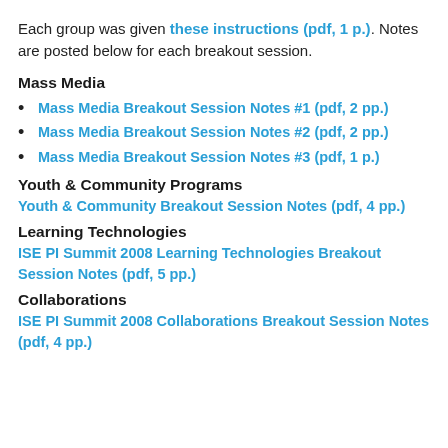Each group was given these instructions (pdf, 1 p.). Notes are posted below for each breakout session.
Mass Media
Mass Media Breakout Session Notes #1 (pdf, 2 pp.)
Mass Media Breakout Session Notes #2 (pdf, 2 pp.)
Mass Media Breakout Session Notes #3 (pdf, 1 p.)
Youth & Community Programs
Youth & Community Breakout Session Notes (pdf, 4 pp.)
Learning Technologies
ISE PI Summit 2008 Learning Technologies Breakout Session Notes (pdf, 5 pp.)
Collaborations
ISE PI Summit 2008 Collaborations Breakout Session Notes (pdf, 4 pp.)